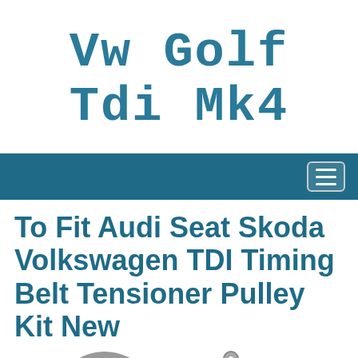VW Golf Tdi Mk4
To Fit Audi Seat Skoda Volkswagen TDI Timing Belt Tensioner Pulley Kit New
[Figure (photo): Photo showing timing belt tensioner pulley kit parts — a round pulley/ring on the left and a tensioner bracket assembly on the right, both metallic/chrome colored]